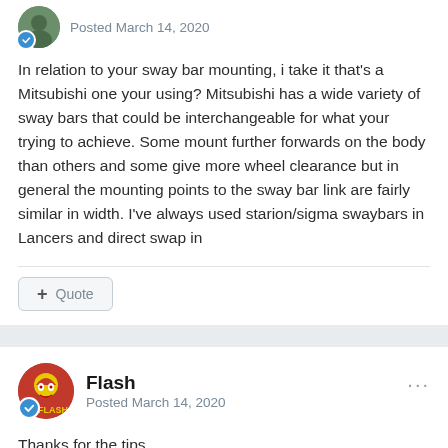Posted March 14, 2020
In relation to your sway bar mounting, i take it that's a Mitsubishi one your using? Mitsubishi has a wide variety of sway bars that could be interchangeable for what your trying to achieve. Some mount further forwards on the body than others and some give more wheel clearance but in general the mounting points to the sway bar link are fairly similar in width. I've always used starion/sigma swaybars in Lancers and direct swap in
Quote
Flash
Posted March 14, 2020
Thanks for the tips.
Yep, the current sway bar is out of an '84 Mitsi L300 in its standard forward facing configuration. Today I'm going to test fit